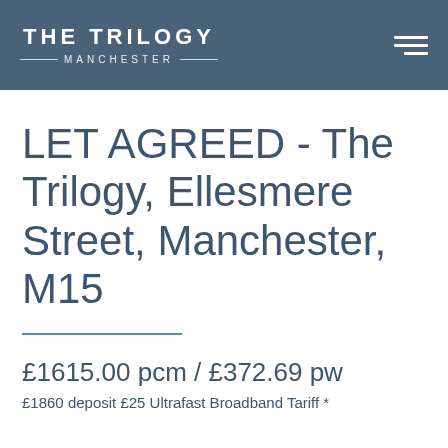THE TRILOGY MANCHESTER
LET AGREED - The Trilogy, Ellesmere Street, Manchester, M15
£1615.00 pcm / £372.69 pw
£1860 deposit £25 Ultrafast Broadband Tariff *